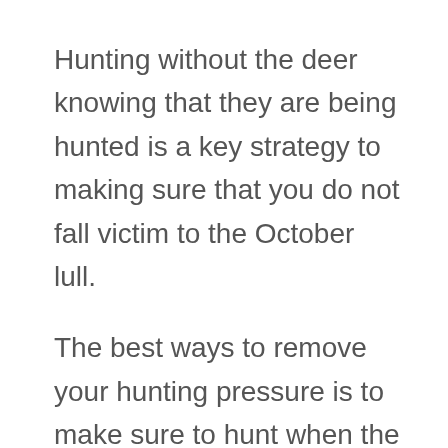Hunting without the deer knowing that they are being hunted is a key strategy to making sure that you do not fall victim to the October lull.
The best ways to remove your hunting pressure is to make sure to hunt when the weather conditions are ideal not only for deer movement, but for your movements to the particular treestand you will be using. Far too often hunters go all-in for a particular buck that they may be after, while creating October